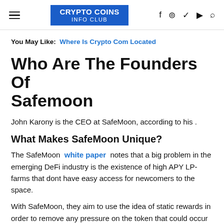CRYPTO COINS INFO CLUB
You May Like: Where Is Crypto Com Located
Who Are The Founders Of Safemoon
John Karony is the CEO at SafeMoon, according to his .
What Makes SafeMoon Unique?
The SafeMoon white paper notes that a big problem in the emerging DeFi industry is the existence of high APY LP-farms that dont have easy access for newcomers to the space.
With SafeMoon, they aim to use the idea of static rewards in order to remove any pressure on the token that could occur